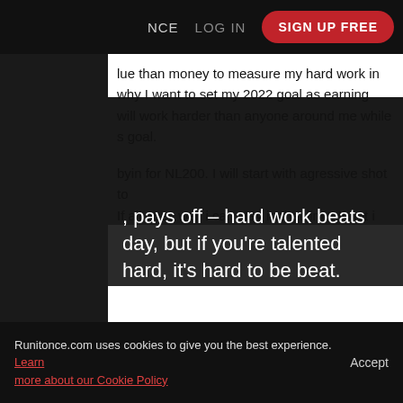NCE   LOG IN   SIGN UP FREE
lue than money to measure my hard work in why I want to set my 2022 goal as earning will work harder than anyone around me while s goal.

byin for NL200. I will start with agressive shot to If all goes well i can stay in that limit. If not i L100 to build my NL200 bankroll again. I hope it for all of us.
[Figure (other): Dark quote card with white text: ', pays off – hard work beats day, but if you're talented hard, it's hard to be beat.' attributed to Robert Griffin III on a red label]
Runitonce.com uses cookies to give you the best experience. Learn more about our Cookie Policy   Accept